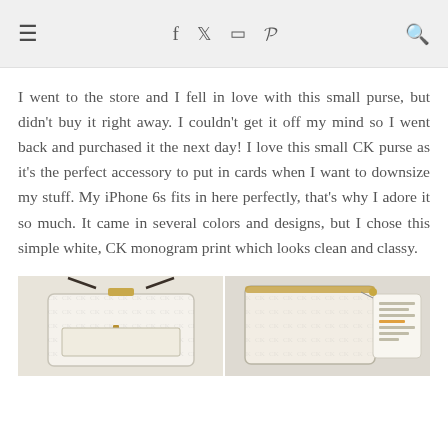≡  f  t  [instagram]  p  [search]
I went to the store and I fell in love with this small purse, but didn't buy it right away. I couldn't get it off my mind so I went back and purchased it the next day! I love this small CK purse as it's the perfect accessory to put in cards when I want to downsize my stuff. My iPhone 6s fits in here perfectly, that's why I adore it so much. It came in several colors and designs, but I chose this simple white, CK monogram print which looks clean and classy.
[Figure (photo): Two photos side by side of a small white CK (Calvin Klein) monogram purse/clutch with gold hardware zipper detail, shown front view and with tags attached.]